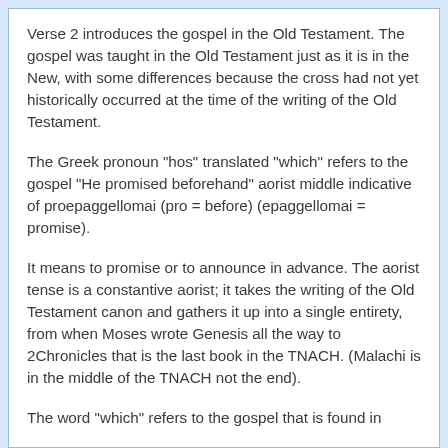Verse 2 introduces the gospel in the Old Testament. The gospel was taught in the Old Testament just as it is in the New, with some differences because the cross had not yet historically occurred at the time of the writing of the Old Testament.
The Greek pronoun "hos" translated "which" refers to the gospel "He promised beforehand" aorist middle indicative of proepaggellomai (pro = before) (epaggellomai = promise).
It means to promise or to announce in advance. The aorist tense is a constantive aorist; it takes the writing of the Old Testament canon and gathers it up into a single entirety, from when Moses wrote Genesis all the way to 2Chronicles that is the last book in the TNACH. (Malachi is in the middle of the TNACH not the end).
The word "which" refers to the gospel that is found in